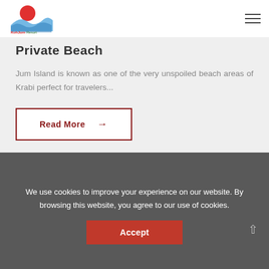KohJum Resort — Experience Friendship
Private Beach
Jum Island is known as one of the very unspoiled beach areas of Krabi perfect for travelers...
Read More →
We use cookies to improve your experience on our website. By browsing this website, you agree to our use of cookies.
Accept